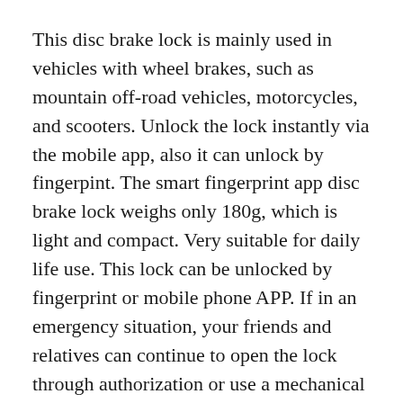This disc brake lock is mainly used in vehicles with wheel brakes, such as mountain off-road vehicles, motorcycles, and scooters. Unlock the lock instantly via the mobile app, also it can unlock by fingerpint. The smart fingerprint app disc brake lock weighs only 180g, which is light and compact. Very suitable for daily life use. This lock can be unlocked by fingerprint or mobile phone APP. If in an emergency situation, your friends and relatives can continue to open the lock through authorization or use a mechanical key to open the lock.
The biggest feature of locksion smart